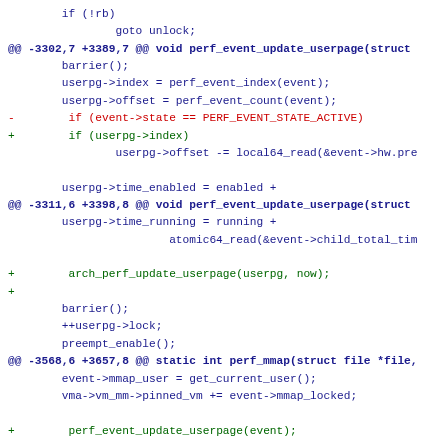if (!rb)
        goto unlock;
@@ -3302,7 +3389,7 @@ void perf_event_update_userpage(struct
        barrier();
        userpg->index = perf_event_index(event);
        userpg->offset = perf_event_count(event);
-        if (event->state == PERF_EVENT_STATE_ACTIVE)
+        if (userpg->index)
                userpg->offset -= local64_read(&event->hw.pre

        userpg->time_enabled = enabled +
@@ -3311,6 +3398,8 @@ void perf_event_update_userpage(struct
        userpg->time_running = running +
                        atomic64_read(&event->child_total_tim

+        arch_perf_update_userpage(userpg, now);
+
        barrier();
        ++userpg->lock;
        preempt_enable();
@@ -3568,6 +3657,8 @@ static int perf_mmap(struct file *file,
        event->mmap_user = get_current_user();
        vma->vm_mm->pinned_vm += event->mmap_locked;

+        perf_event_update_userpage(event);